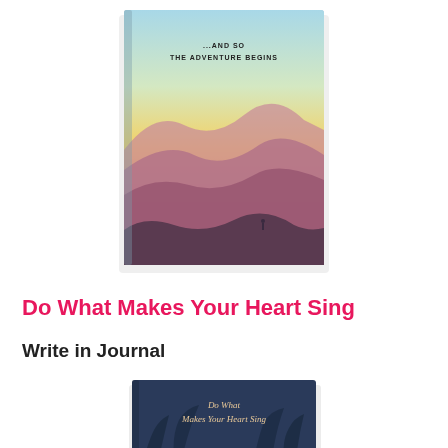[Figure (photo): A hardcover journal with a mountain sunset landscape cover. The cover shows layered mountain silhouettes in pink and purple hues against a yellow-to-blue gradient sky. Text on cover reads '...AND SO THE ADVENTURE BEGINS']
Do What Makes Your Heart Sing
Write in Journal
[Figure (photo): A partial view of another hardcover journal with a dark blue cover featuring palm trees and cursive text reading 'Do What Makes Your Heart Sing']